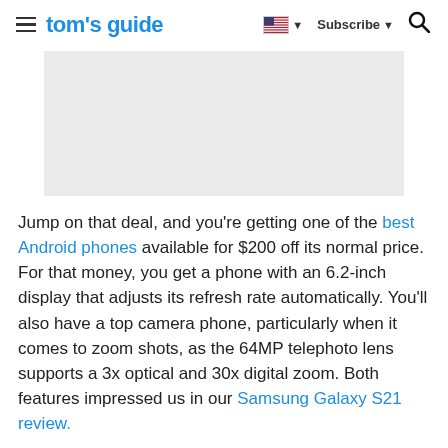tom's guide | Subscribe
[Figure (other): Gray advertisement placeholder rectangle]
Jump on that deal, and you're getting one of the best Android phones available for $200 off its normal price. For that money, you get a phone with an 6.2-inch display that adjusts its refresh rate automatically. You'll also have a top camera phone, particularly when it comes to zoom shots, as the 64MP telephoto lens supports a 3x optical and 30x digital zoom. Both features impressed us in our Samsung Galaxy S21 review.